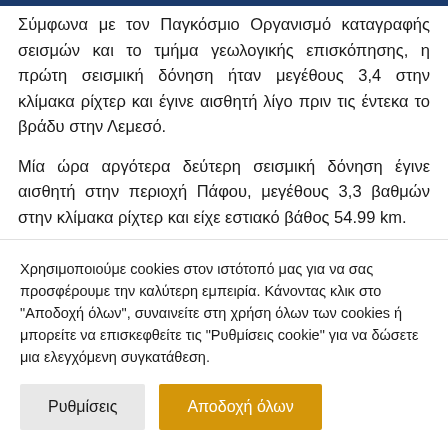Σύμφωνα με τον Παγκόσμιο Οργανισμό καταγραφής σεισμών και το τμήμα γεωλογικής επισκόπησης, η πρώτη σεισμική δόνηση ήταν μεγέθους 3,4 στην κλίμακα ρίχτερ και έγινε αισθητή λίγο πριν τις έντεκα το βράδυ στην Λεμεσό.
Μία ώρα αργότερα δεύτερη σεισμική δόνηση έγινε αισθητή στην περιοχή Πάφου, μεγέθους 3,3 βαθμών στην κλίμακα ρίχτερ και είχε εστιακό βάθος 54.99 km.
Χρησιμοποιούμε cookies στον ιστότοπό μας για να σας προσφέρουμε την καλύτερη εμπειρία. Κάνοντας κλικ στο "Αποδοχή όλων", συναινείτε στη χρήση όλων των cookies ή μπορείτε να επισκεφθείτε τις "Ρυθμίσεις cookie" για να δώσετε μια ελεγχόμενη συγκατάθεση.